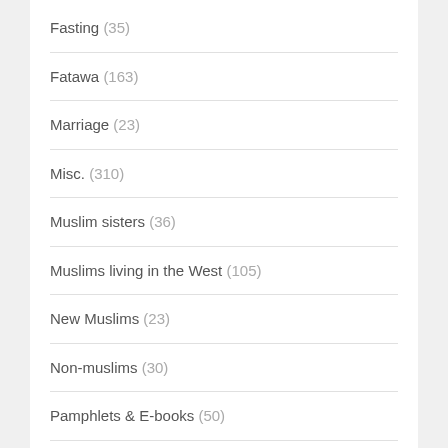Fasting (35)
Fatawa (163)
Marriage (23)
Misc. (310)
Muslim sisters (36)
Muslims living in the West (105)
New Muslims (23)
Non-muslims (30)
Pamphlets & E-books (50)
Qur'an (86)